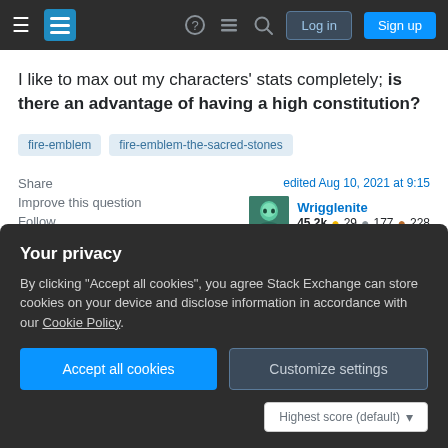Stack Exchange navigation bar with Log in and Sign up buttons
I like to max out my characters' stats completely; is there an advantage of having a high constitution?
fire-emblem
fire-emblem-the-sacred-stones
Share   Improve this question   Follow
edited Aug 10, 2021 at 9:15
Wrigglenite
45.2k  29  177  228
asked Jul 16, 2014 at 12:52
Your privacy
By clicking "Accept all cookies", you agree Stack Exchange can store cookies on your device and disclose information in accordance with our Cookie Policy.
Accept all cookies   Customize settings